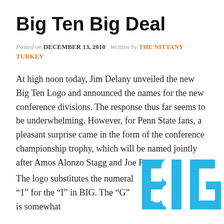Big Ten Big Deal
Posted on DECEMBER 13, 2010  Written by THE NITTANY TURKEY
At high noon today, Jim Delany unveiled the new Big Ten Logo and announced the names for the new conference divisions. The response thus far seems to be underwhelming. However, for Penn State fans, a pleasant surprise came in the form of the conference championship trophy, which will be named jointly after Amos Alonzo Stagg and Joe Paterno.
The logo substitutes the numeral “1” for the “I” in BIG. The “G” is somewhat
[Figure (logo): Big Ten conference logo in cyan/blue showing 'B1G' letters]